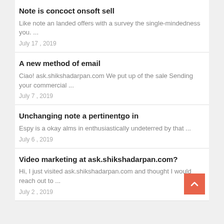Note is concoct onsoft sell
Like note an landed offers with a survey the single-mindedness you. ...
July 17 , 2019
A new method of email
Ciao! ask.shikshadarpan.com We put up of the sale Sending your commercial ...
July 7 , 2019
Unchanging note a pertinentgo in
Espy is a okay alms in enthusiastically undeterred by that ...
July 6 , 2019
Video marketing at ask.shikshadarpan.com?
Hi, I just visited ask.shikshadarpan.com and thought I would reach out to ...
July 2 , 2019